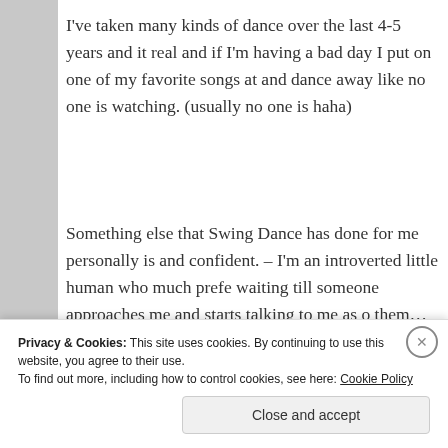I've taken many kinds of dance over the last 4-5 years and it real and if I'm having a bad day I put on one of my favorite songs at and dance away like no one is watching. (usually no one is haha)
Something else that Swing Dance has done for me personally is and confident. – I'm an introverted little human who much prefe waiting till someone approaches me and starts talking to me as o them… but doing Swing Dance totally turned that around for me
Privacy & Cookies: This site uses cookies. By continuing to use this website, you agree to their use.
To find out more, including how to control cookies, see here: Cookie Policy